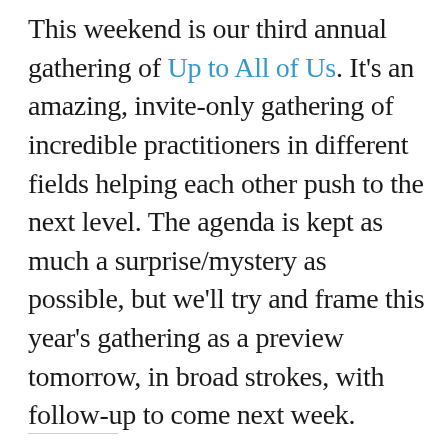This weekend is our third annual gathering of Up to All of Us. It's an amazing, invite-only gathering of incredible practitioners in different fields helping each other push to the next level. The agenda is kept as much a surprise/mystery as possible, but we'll try and frame this year's gathering as a preview tomorrow, in broad strokes, with follow-up to come next week.